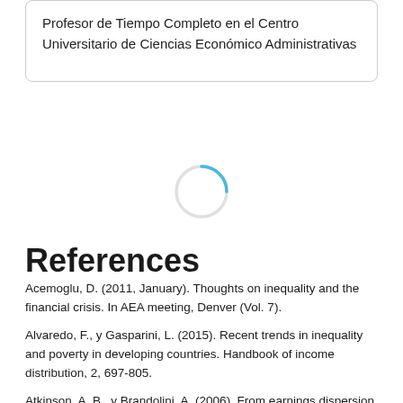Profesor de Tiempo Completo en el Centro Universitario de Ciencias Económico Administrativas
[Figure (other): Loading spinner circle icon]
References
Acemoglu, D. (2011, January). Thoughts on inequality and the financial crisis. In AEA meeting, Denver (Vol. 7).
Alvaredo, F., y Gasparini, L. (2015). Recent trends in inequality and poverty in developing countries. Handbook of income distribution, 2, 697-805.
Atkinson, A. B., y Brandolini, A. (2006). From earnings dispersion to income inequality.
Barlevy, G., y Tsiddon, D. (2006). Earnings inequality and